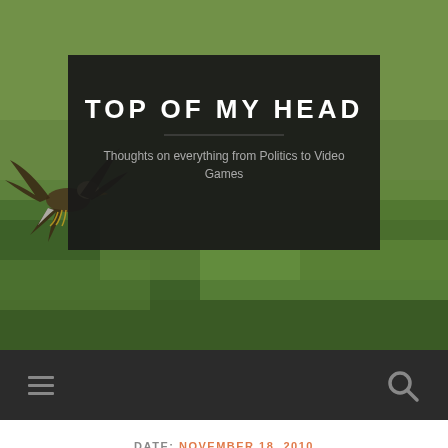[Figure (photo): Outdoor nature background showing green grass field with a bird (eagle) in motion at left side, with dark semi-transparent header overlay box]
TOP OF MY HEAD
Thoughts on everything from Politics to Video Games
Navigation bar with hamburger menu icon and search icon
DATE: NOVEMBER 18, 2010
Why is Bristol Palin apologizing?
NOVEMBER 18, 2010 / 1 COMMENT
I saw this article that Bristol Palin is apologizing for